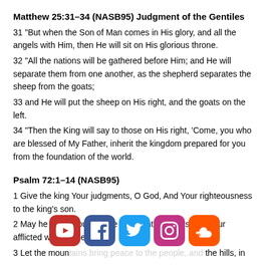Matthew 25:31–34 (NASB95) Judgment of the Gentiles
31 “But when the Son of Man comes in His glory, and all the angels with Him, then He will sit on His glorious throne.
32 “All the nations will be gathered before Him; and He will separate them from one another, as the shepherd separates the sheep from the goats;
33 and He will put the sheep on His right, and the goats on the left.
34 “Then the King will say to those on His right, ‘Come, you who are blessed of My Father, inherit the kingdom prepared for you from the foundation of the world.
Psalm 72:1–14 (NASB95)
1 Give the king Your judgments, O God, And Your righteousness to the king’s son.
2 May he judge Your people with righteousness And Your afflicted with justice.
3 Let the mountains bring peace to the people, and the hills, in